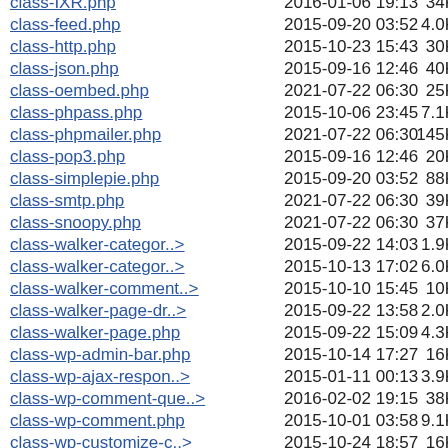class-IXR.php  2016-01-06 19:13  34K
class-feed.php  2015-09-20 03:52  4.0K
class-http.php  2015-10-23 15:43  30K
class-json.php  2015-09-16 12:46  40K
class-oembed.php  2021-07-22 06:30  25K
class-phpass.php  2015-10-06 23:45  7.1K
class-phpmailer.php  2021-07-22 06:30  145K
class-pop3.php  2015-09-16 12:46  20K
class-simplepie.php  2015-09-20 03:52  88K
class-smtp.php  2021-07-22 06:30  39K
class-snoopy.php  2021-07-22 06:30  37K
class-walker-categor..>  2015-09-22 14:03  1.9K
class-walker-categor..>  2015-10-13 17:02  6.0K
class-walker-comment..>  2015-10-10 15:45  10K
class-walker-page-dr..>  2015-09-22 13:58  2.0K
class-walker-page.php  2015-09-22 15:09  4.3K
class-wp-admin-bar.php  2015-10-14 17:27  16K
class-wp-ajax-respon..>  2015-01-11 00:13  3.9K
class-wp-comment-que..>  2016-02-02 19:15  38K
class-wp-comment.php  2015-10-01 03:58  9.1K
class-wp-customize-c..>  2015-10-24 18:57  16K